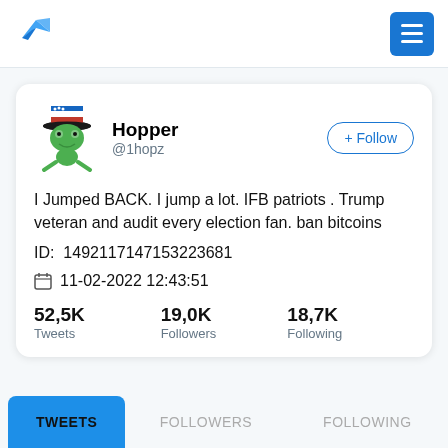[Figure (logo): Blue bird/hummingbird logo in top left]
[Figure (illustration): Cartoon frog wearing a patriotic top hat (red, white, blue) as profile avatar]
Hopper
@1hopz
+ Follow
I Jumped BACK. I jump a lot. IFB patriots . Trump veteran and audit every election fan. ban bitcoins
ID:  1492117147153223681
11-02-2022 12:43:51
52,5K
Tweets
19,0K
Followers
18,7K
Following
TWEETS
FOLLOWERS
FOLLOWING